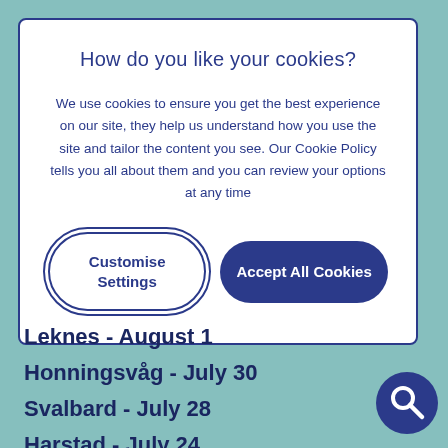How do you like your cookies?
We use cookies to ensure you get the best experience on our site, they help us understand how you use the site and tailor the content you see. Our Cookie Policy tells you all about them and you can review your options at any time
Customise Settings
Accept All Cookies
Leknes - August 1
Honningsvåg - July 30
Svalbard - July 28
Harstad - July 24